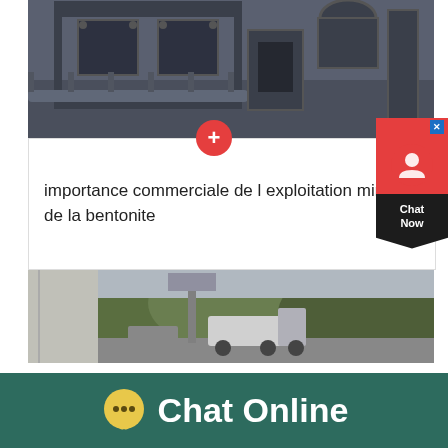[Figure (photo): Industrial heavy machinery / crusher equipment photographed from above, metallic dark grey structure]
importance commerciale de l exploitation minière de la bentonite
[Figure (photo): Outdoor scene with trucks on a road, forested hill in background]
Chat Online